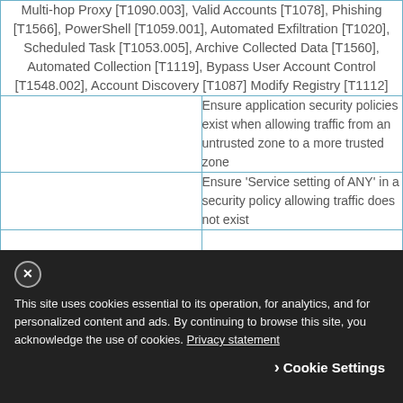| Multi-hop Proxy [T1090.003], Valid Accounts [T1078], Phishing [T1566], PowerShell [T1059.001], Automated Exfiltration [T1020], Scheduled Task [T1053.005], Archive Collected Data [T1560], Automated Collection [T1119], Bypass User Account Control [T1548.002], Account Discovery [T1087] Modify Registry [T1112] |
|  | Ensure application security policies exist when allowing traffic from an untrusted zone to a more trusted zone |
|  | Ensure 'Service setting of ANY' in a security policy allowing traffic does not exist |
|  |  |
This site uses cookies essential to its operation, for analytics, and for personalized content and ads. By continuing to browse this site, you acknowledge the use of cookies. Privacy statement
Cookie Settings